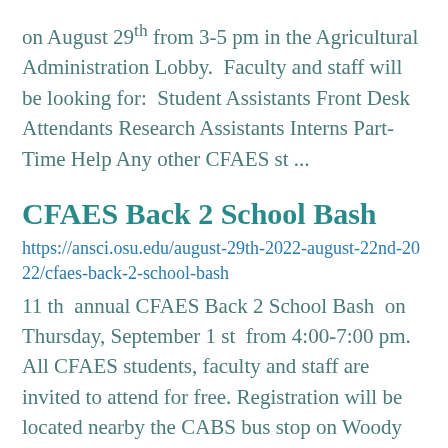on August 29th from 3-5 pm in the Agricultural Administration Lobby.  Faculty and staff will be looking for:  Student Assistants Front Desk Attendants Research Assistants Interns Part-Time Help Any other CFAES st ...
CFAES Back 2 School Bash
https://ansci.osu.edu/august-29th-2022-august-22nd-2022/cfaes-back-2-school-bash
11 th  annual CFAES Back 2 School Bash  on Thursday, September 1 st  from 4:00-7:00 pm. All CFAES students, faculty and staff are invited to attend for free. Registration will be located nearby the CABS bus stop on Woody